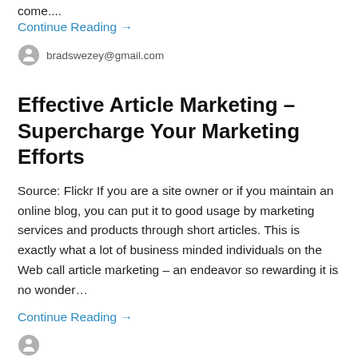come....
Continue Reading →
bradswezey@gmail.com
Effective Article Marketing – Supercharge Your Marketing Efforts
Source: Flickr If you are a site owner or if you maintain an online blog, you can put it to good usage by marketing services and products through short articles. This is exactly what a lot of business minded individuals on the Web call article marketing – an endeavor so rewarding it is no wonder…
Continue Reading →
How Do I Market My New Business On The Internet?